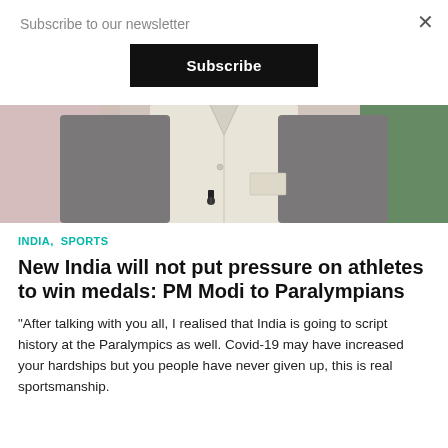Subscribe to our newsletter
Subscribe
[Figure (photo): Partial photo of a person wearing a white sleeveless vest over a dark grey long-sleeve shirt, with a microphone clip visible, against a blurred background of light pink and green.]
INDIA,  SPORTS
New India will not put pressure on athletes to win medals: PM Modi to Paralympians
"After talking with you all, I realised that India is going to script history at the Paralympics as well. Covid-19 may have increased your hardships but you people have never given up, this is real sportsmanship.